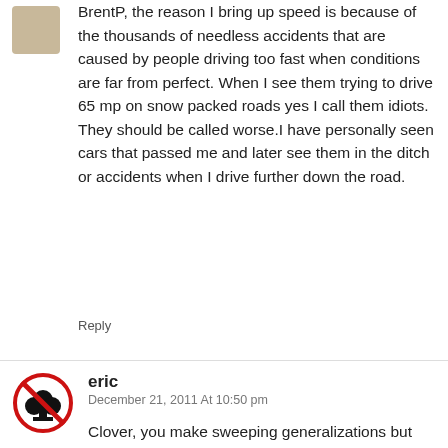BrentP, the reason I bring up speed is because of the thousands of needless accidents that are caused by people driving too fast when conditions are far from perfect. When I see them trying to drive 65 mp on snow packed roads yes I call them idiots. They should be called worse.I have personally seen cars that passed me and later see them in the ditch or accidents when I drive further down the road.
Reply
[Figure (illustration): Red circle with diagonal slash over a black club/clover symbol — avatar icon for user 'eric']
eric
December 21, 2011 At 10:50 pm
Clover, you make sweeping generalizations but each "accident" is a unique event. A given accident may be the result of one or several factors.